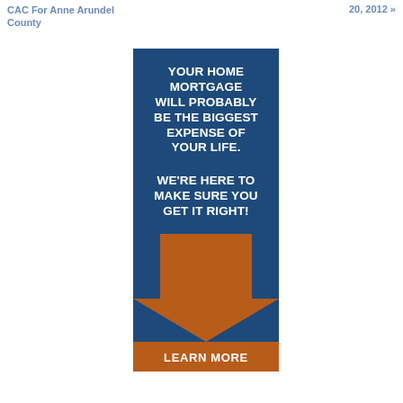CAC For Anne Arundel County
20, 2012 »
[Figure (infographic): Dark blue banner ad with white bold text reading 'YOUR HOME MORTGAGE WILL PROBABLY BE THE BIGGEST EXPENSE OF YOUR LIFE. WE'RE HERE TO MAKE SURE YOU GET IT RIGHT!' followed by an orange downward arrow and an orange 'LEARN MORE' button at the bottom.]